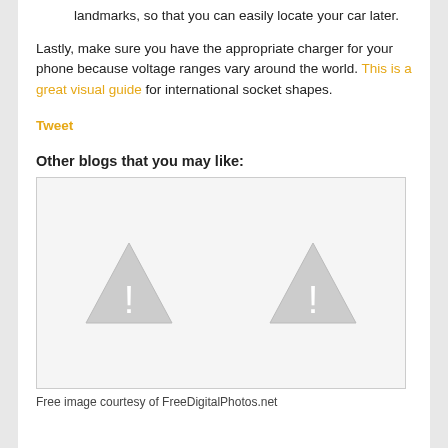landmarks, so that you can easily locate your car later.
Lastly, make sure you have the appropriate charger for your phone because voltage ranges vary around the world. This is a great visual guide for international socket shapes.
Tweet
Other blogs that you may like:
[Figure (photo): Placeholder image box with two warning/image-missing icons side by side]
Free image courtesy of FreeDigitalPhotos.net